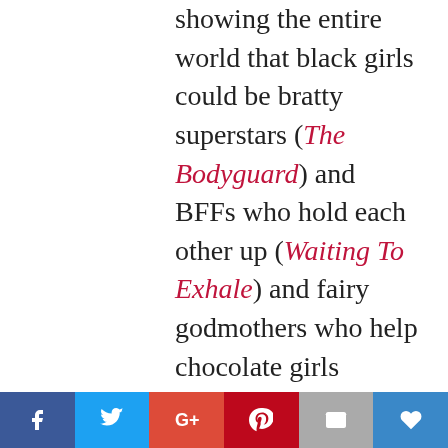showing the entire world that black girls could be bratty superstars (The Bodyguard) and BFFs who hold each other up (Waiting To Exhale) and fairy godmothers who help chocolate girls become the princesses, too (Cinderella), just as my girls and I and black girls everywhere else were negotiating the tricky relationship terrain. She sure was me when she married a boy from New Edition, our favorite teenage band, and swung her pregnant belly with giggles and a lot of pride as she proudly proclaimed, “I’m
254